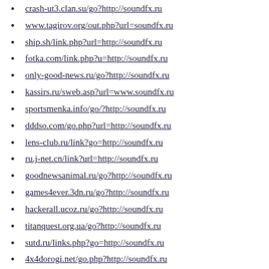crash-ut3.clan.su/go?http://soundfx.ru
www.tagirov.org/out.php?url=soundfx.ru
ship.sh/link.php?url=http://soundfx.ru
fotka.com/link.php?u=http://soundfx.ru
only-good-news.ru/go?http://soundfx.ru
kassirs.ru/sweb.asp?url=www.soundfx.ru
sportsmenka.info/go/?http://soundfx.ru
dddso.com/go.php?url=http://soundfx.ru
lens-club.ru/link?go=http://soundfx.ru
ru.j-net.cn/link?url=http://soundfx.ru
goodnewsanimal.ru/go?http://soundfx.ru
games4ever.3dn.ru/go?http://soundfx.ru
hackerall.ucoz.ru/go?http://soundfx.ru
titanquest.org.ua/go?http://soundfx.ru
sutd.ru/links.php?go=http://soundfx.ru
4x4dorogi.net/go.php?http://soundfx.ru
kineshemec.ru/away/?url=www.soundfx.ru
start365.info/go/?to=http://soundfx.ru
maps.gngjd.com/url?q=http://soundfx.ru